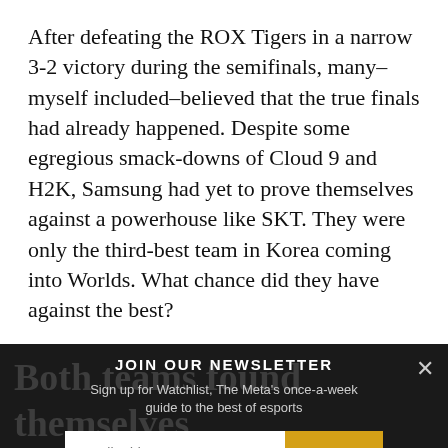After defeating the ROX Tigers in a narrow 3-2 victory during the semifinals, many–myself included–believed that the true finals had already happened. Despite some egregious smack-downs of Cloud 9 and H2K, Samsung had yet to prove themselves against a powerhouse like SKT. They were only the third-best team in Korea coming into Worlds. What chance did they have against the best?
Both teams found themselves within [newsletter overlay] on the biggest stage d to offer
JOIN OUR NEWSLETTER
Sign up for Watchlist, The Meta's once-a-week guide to the best of esports